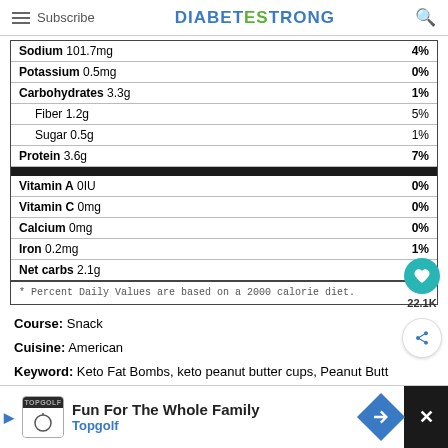Subscribe | DIABETESTRONG
| Nutrient | Amount | DV% |
| --- | --- | --- |
| Sodium | 101.7mg | 4% |
| Potassium | 0.5mg | 0% |
| Carbohydrates | 3.3g | 1% |
| Fiber | 1.2g | 5% |
| Sugar | 0.5g | 1% |
| Protein | 3.6g | 7% |
| Vitamin A | 0IU | 0% |
| Vitamin C | 0mg | 0% |
| Calcium | 0mg | 0% |
| Iron | 0.2mg | 1% |
| Net carbs | 2.1g |  |
* Percent Daily Values are based on a 2000 calorie diet.
Course: Snack
Cuisine: American
Keyword: Keto Fat Bombs, keto peanut butter cups, Peanut Butter Fat Bombs